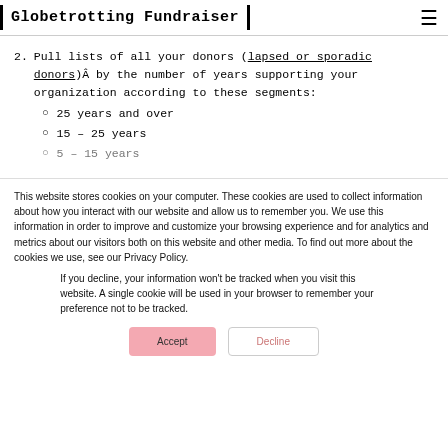Globetrotting Fundraiser
2. Pull lists of all your donors (lapsed or sporadic donors)Â by the number of years supporting your organization according to these segments:
25 years and over
15 – 25 years
5 – 15 years
This website stores cookies on your computer. These cookies are used to collect information about how you interact with our website and allow us to remember you. We use this information in order to improve and customize your browsing experience and for analytics and metrics about our visitors both on this website and other media. To find out more about the cookies we use, see our Privacy Policy.
If you decline, your information won’t be tracked when you visit this website. A single cookie will be used in your browser to remember your preference not to be tracked.